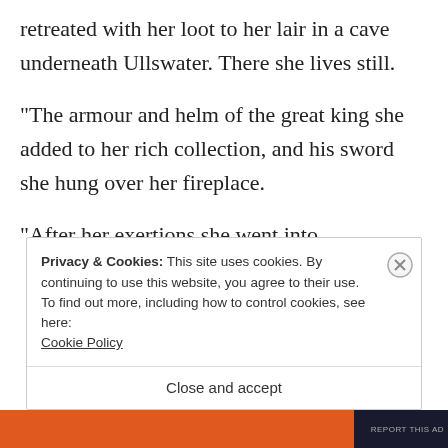retreated with her loot to her lair in a cave underneath Ullswater. There she lives still.
“The armour and helm of the great king she added to her rich collection, and his sword she hung over her fireplace.
“After her exertions she went into
Privacy & Cookies: This site uses cookies. By continuing to use this website, you agree to their use.
To find out more, including how to control cookies, see here:
Cookie Policy
Close and accept